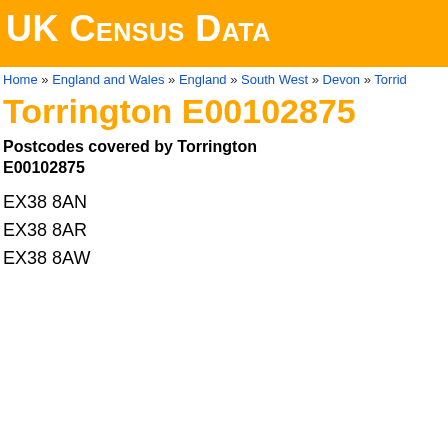UK Census Data
Home » England and Wales » England » South West » Devon » Torrid
Torrington E00102875
Postcodes covered by Torrington E00102875
EX38 8AN
EX38 8AR
EX38 8AW